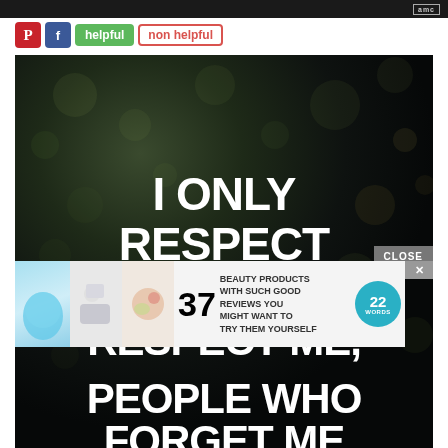[Figure (screenshot): Top bar with AMC logo/badge in upper right corner on dark background]
[Figure (infographic): Social sharing buttons: Pinterest (red), Facebook (blue), helpful (green), non helpful (red outline)]
[Figure (photo): Dark bokeh background with white bold uppercase text reading: I ONLY RESPECT PEOPLE WHO RESPECT ME, and partially visible PEOPLE WHO FORGET ME. An advertisement banner overlaid shows '37 BEAUTY PRODUCTS WITH SUCH GOOD REVIEWS YOU MIGHT WANT TO TRY THEM YOURSELF' with 22 Words badge. A CLOSE button appears above the ad.]